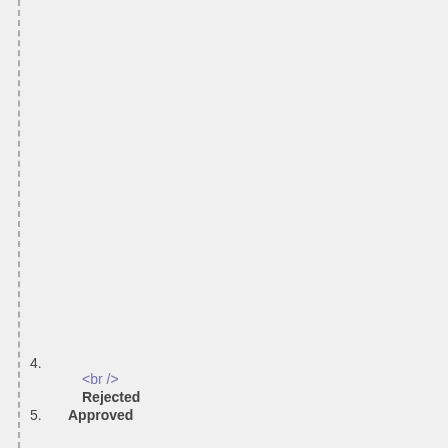4.
<br />
Rejected
5. Approved